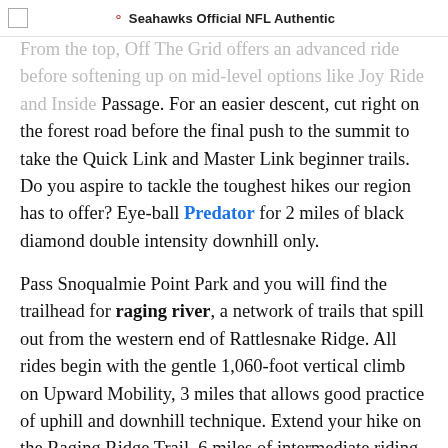Seahawks Official NFL Authentic
From the top, Off The Grid offers an advanced ride before softening up on mid-level options like Joy Ride and Inside Passage. For an easier descent, cut right on the forest road before the final push to the summit to take the Quick Link and Master Link beginner trails. Do you aspire to tackle the toughest hikes our region has to offer? Eye-ball Predator for 2 miles of black diamond double intensity downhill only.
Pass Snoqualmie Point Park and you will find the trailhead for raging river, a network of trails that spill out from the western end of Rattlesnake Ridge. All rides begin with the gentle 1,060-foot vertical climb on Upward Mobility, 3 miles that allows good practice of uphill and downhill technique. Extend your hike on the Raging Ridge Trail, 6 miles of intermediate riding that leads to more challenging descents like Poppin' Tips, No Service, and Invictus (arguably the toughest stretch of trail in the state). On the way back to the trailhead, try the only named intermediate flow state